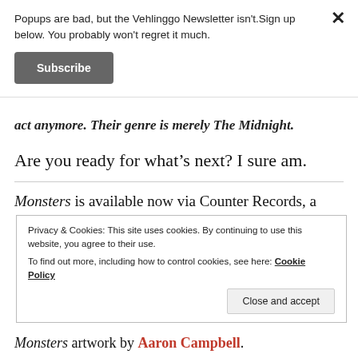Popups are bad, but the Vehlinggo Newsletter isn't. Sign up below. You probably won't regret it much.
Subscribe
act anymore. Their genre is merely The Midnight.
Are you ready for what’s next? I sure am.
Monsters is available now via Counter Records, a
Privacy & Cookies: This site uses cookies. By continuing to use this website, you agree to their use.
To find out more, including how to control cookies, see here: Cookie Policy
Close and accept
Monsters artwork by Aaron Campbell.